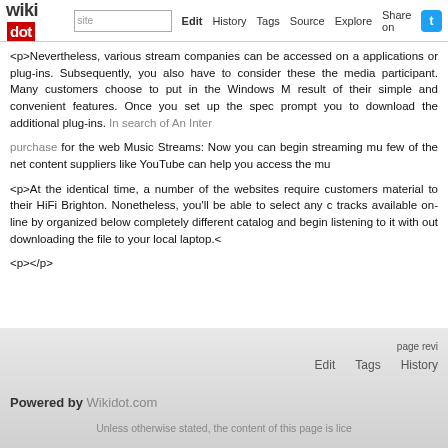wikidot | site | Edit | History | Tags | Source | Explore | Share on [Twitter]
<p>Nevertheless, various stream companies can be accessed on a applications or plug-ins. Subsequently, you also have to consider these the media participant. Many customers choose to put in the Windows M result of their simple and convenient features. Once you set up the spec prompt you to download the additional plug-ins. In search of An Inter purchase for the web Music Streams: Now you can begin streaming mu few of the net content suppliers like YouTube can help you access the mu
<p>At the identical time, a number of the websites require customers material to their HiFi Brighton. Nonetheless, you'll be able to select any tracks available on-line by organized below completely different catalo and begin listening to it with out downloading the file to your local laptop.<
<p></p>
Comments: 0
Add a New Comment
page revi   Edit   Tags   History
Powered by Wikidot.com
Unless otherwise stated, the content of this page is lice